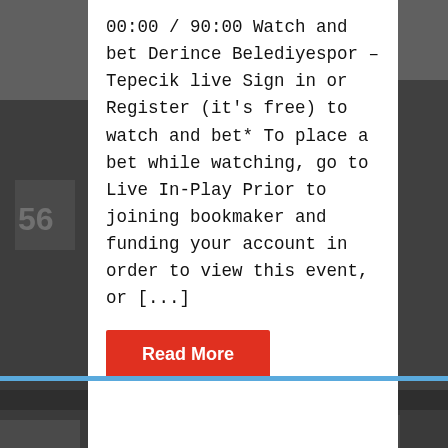[Figure (photo): Black and white photo of American football players in action on a field]
00:00 / 90:00 Watch and bet Derince Belediyespor – Tepecik live Sign in or Register (it's free) to watch and bet* To place a bet while watching, go to Live In-Play Prior to joining bookmaker and funding your account in order to view this event, or [...]
Read More